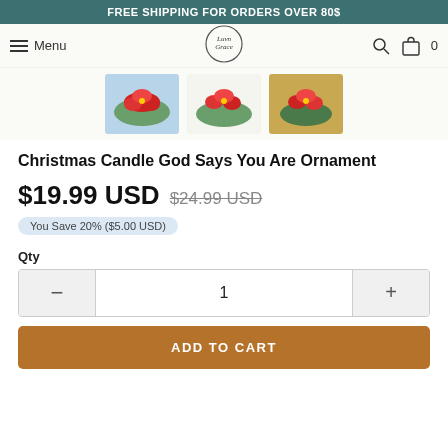FREE SHIPPING FOR ORDERS OVER 80$
Menu | LuvnGrace logo | Search | Cart 0
[Figure (photo): Three thumbnail images of Christmas candle ornaments with red poinsettia flowers]
Christmas Candle God Says You Are Ornament
$19.99 USD  $24.99 USD
You Save 20% ($5.00 USD)
Qty
1
ADD TO CART